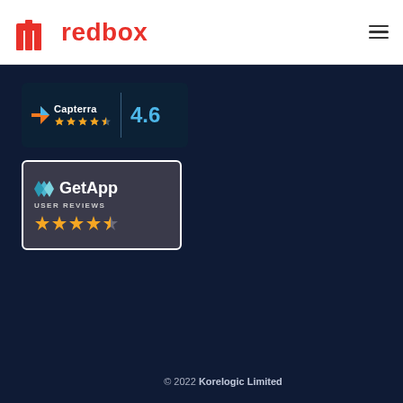[Figure (logo): Redbox logo with red icon and red text 'redbox' and hamburger menu icon in top right]
[Figure (other): Capterra review badge showing 4.6 stars rating on dark blue background]
[Figure (other): GetApp User Reviews badge showing 4.5 stars on dark background with white border]
© 2022 Korelogic Limited